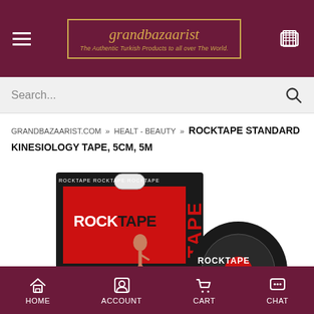grandbazaarist - The Authentic Turkish Products to all over The World.
Search...
GRANDBAZAARIST.COM » HEALT - BEAUTY » ROCKTAPE STANDARD KINESIOLOGY TAPE, 5CM, 5M
[Figure (photo): RockTape Standard Kinesiology Tape product photo showing box packaging with woman running and a roll of black tape with ROCKTAPE branding]
HOME   ACCOUNT   CART   CHAT